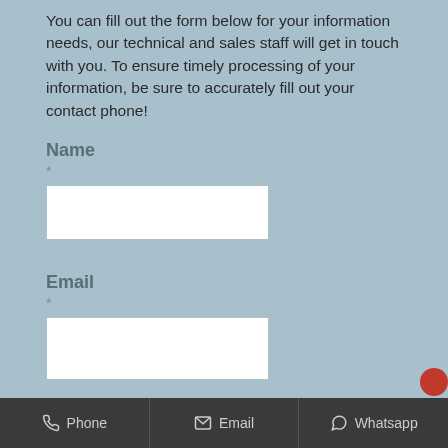You can fill out the form below for your information needs, our technical and sales staff will get in touch with you. To ensure timely processing of your information, be sure to accurately fill out your contact phone!
Name
*
Email
*
Phone | Email | Whatsapp